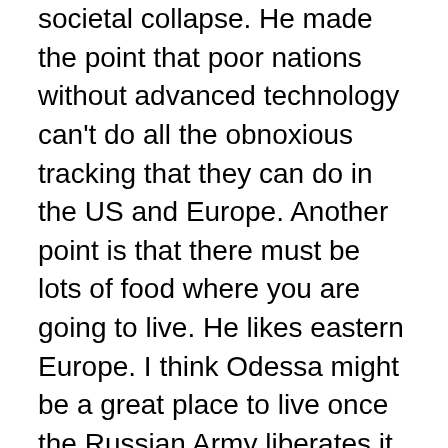societal collapse. He made the point that poor nations without advanced technology can't do all the obnoxious tracking that they can do in the US and Europe. Another point is that there must be lots of food where you are going to live. He likes eastern Europe. I think Odessa might be a great place to live once the Russian Army liberates it.
I prefer to stay in the US. America is not Europe. We have a federal form of government. Republicans control the governorship, the judiciary and both houses of the legislature in half of the states. Each state has a National Guard under the control of the governor. And any member of the Guard with keys can go get 50 caliber machine guns, sniper rifles, C-4 explosives and anything else they think they might need. Additionally, the Guardian noted that 7.1 million Americans have 40 or more guns and at